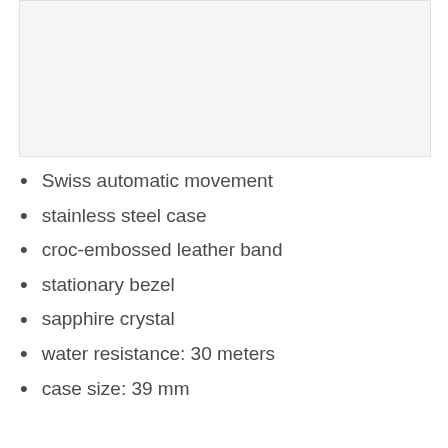[Figure (photo): Product image placeholder — light gray rectangle representing a watch photo]
Swiss automatic movement
stainless steel case
croc-embossed leather band
stationary bezel
sapphire crystal
water resistance: 30 meters
case size: 39 mm